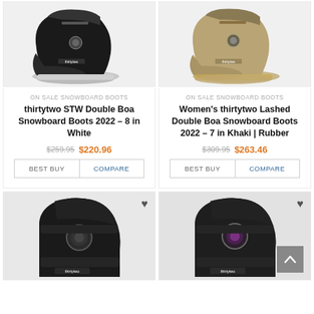[Figure (photo): Black thirtytwo snowboard boot on white/grey background, top-down angle]
ON SALE SNOWBOARD BOOTS
thirtytwo STW Double Boa Snowboard Boots 2022 – 8 in White
$259.95  $220.96
[Figure (photo): Khaki/tan thirtytwo women's snowboard boot on light background]
ON SALE SNOWBOARD BOOTS
Women's thirtytwo Lashed Double Boa Snowboard Boots 2022 – 7 in Khaki | Rubber
$309.95  $263.46
[Figure (photo): Black thirtytwo snowboard boot with BOA dial, partial view, lower portion of page]
[Figure (photo): Black/purple thirtytwo snowboard boot with BOA dial, partial view, lower portion of page]